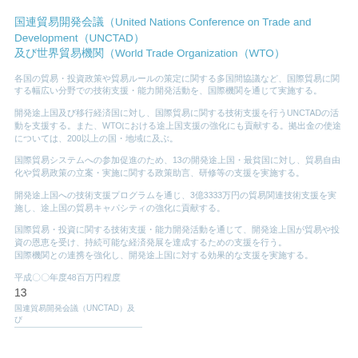国連貿易開発会議（United Nations Conference on Trade and Development（UNCTAD） 及び世界貿易機関（World Trade Organization（WTO）
各国の貿易・投資政策や貿易ルールの策定に関する多国間協議など、国際貿易に関する幅広い分野での技術支援・能力開発活動を、国際機関を通じて実施する。
開発途上国及び移行経済国に対し、国際貿易に関する技術支援を行うUNCTADの活動を支援する。また、WTOにおける途上国支援の強化にも貢献する。拠出金の使途については、200以上の国・地域に及ぶ。
国際貿易システムへの参加促進のため、13の開発途上国・最貧国に対し、貿易自由化や貿易政策の立案・実施に関する政策助言、研修等の支援を実施する。
開発途上国への技術支援プログラムを通じ、3億3333万円の貿易関連技術支援を実施し、途上国の貿易キャパシティの強化に貢献する。
国際貿易・投資に関する技術支援・能力開発活動を通じて、開発途上国が貿易や投資の恩恵を受け、持続可能な経済発展を達成するための支援を行う。
国際機関との連携を強化し、開発途上国に対する効果的な支援を実施する。
平成〇〇年度48百万円程度
13
国連貿易開発会議（UNCTAD）及び